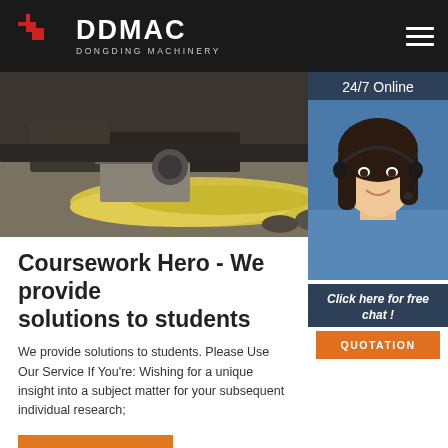DDMAC DONGDING MACHINERY
[Figure (photo): Hero image showing heavy machinery equipment on a construction/industrial site, with yellow insulation material and rocks visible in the foreground.]
[Figure (photo): 24/7 Online chat widget showing a female customer service agent wearing a headset, with 'Click here for free chat!' text and a QUOTATION button.]
Coursework Hero - We provide solutions to students
We provide solutions to students. Please Use Our Service If You're: Wishing for a unique insight into a subject matter for your subsequent individual research;
Get Price